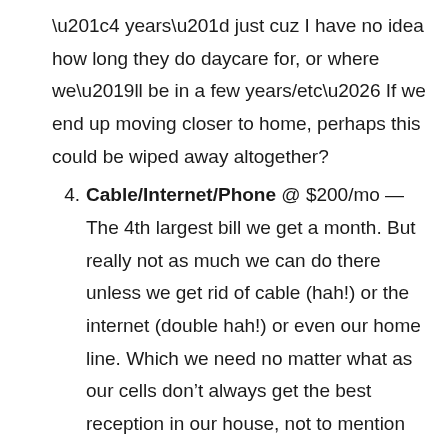“4 years” just cuz I have no idea how long they do daycare for, or where we’ll be in a few years/etc… If we end up moving closer to home, perhaps this could be wiped away altogether?
4. Cable/Internet/Phone @ $200/mo — The 4th largest bill we get a month. But really not as much we can do there unless we get rid of cable (hah!) or the internet (double hah!) or even our home line. Which we need no matter what as our cells don’t always get the best reception in our house, not to mention the need to up our minutes even more if we nixed